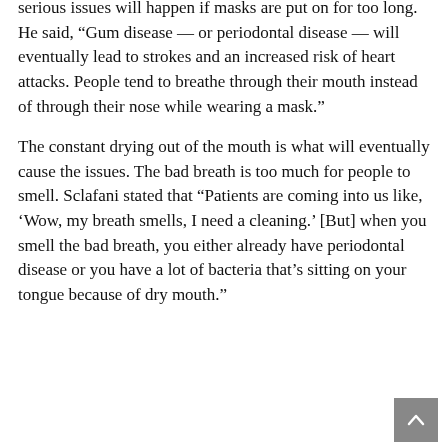serious issues will happen if masks are put on for too long. He said, “Gum disease — or periodontal disease — will eventually lead to strokes and an increased risk of heart attacks. People tend to breathe through their mouth instead of through their nose while wearing a mask.”
The constant drying out of the mouth is what will eventually cause the issues. The bad breath is too much for people to smell. Sclafani stated that “Patients are coming into us like, ‘Wow, my breath smells, I need a cleaning.’ [But] when you smell the bad breath, you either already have periodontal disease or you have a lot of bacteria that’s sitting on your tongue because of dry mouth.”